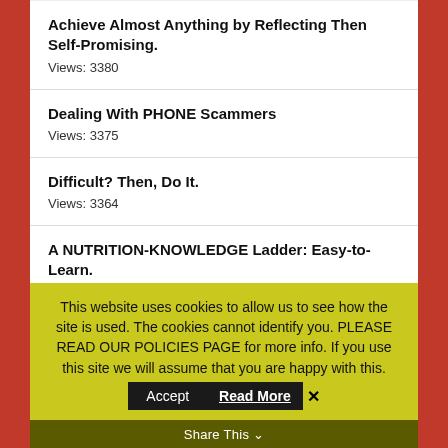Achieve Almost Anything by Reflecting Then Self-Promising.
Views: 3380
Dealing With PHONE Scammers
Views: 3375
Difficult? Then, Do It.
Views: 3364
A NUTRITION-KNOWLEDGE Ladder: Easy-to-Learn.
Views: 3363
CAPITALISM's Back for PRODUCTIVITY: Back to…
This website uses cookies to allow us to see how the site is used. The cookies cannot identify you. PLEASE READ OUR POLICIES PAGE for more info. If you use this site we will assume that you are happy with this.
Share This